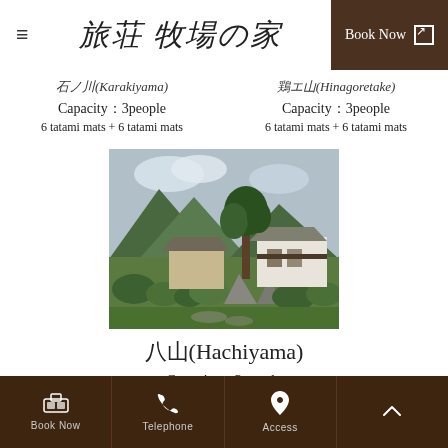≡  旅荘牧場の家  Book Now
石ノ川(Karakiyama)
Capacity：3people
6 tatami mats + 6 tatami mats
鶏エ山(Hinagoretake)
Capacity：3people
6 tatami mats + 6 tatami mats
[Figure (photo): Exterior view of a traditional Japanese farmhouse (Hachiyama) with stone garden features, green shrubs, trees, and mountain backdrop under a cloudy sky.]
八山(Hachiyama)
Capacity：3people
6 tatami mats + 6 tatami mats
Book Now  Telephone  Access